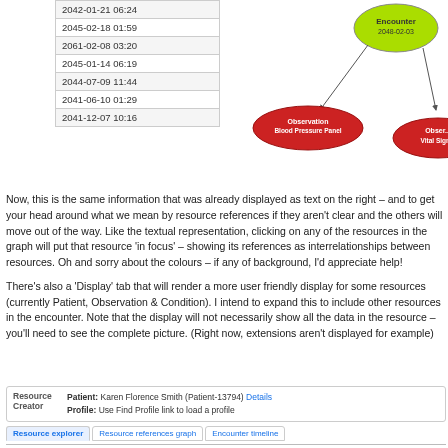| Date |
| --- |
| 2042-01-21 06:24 |
| 2045-02-18 01:59 |
| 2061-02-08 03:20 |
| 2045-01-14 06:19 |
| 2044-07-09 11:44 |
| 2041-06-10 01:29 |
| 2041-12-07 10:16 |
[Figure (network-graph): Partial network graph showing Encounter node (2048-02-03) in green/yellow, with Observation Blood Pressure Panel and Observation Vital Signs nodes in red, connected by arrows.]
Now, this is the same information that was already displayed as text on the right – and to get your head around what we mean by resource references if they aren't clear and the others will move out of the way. Like the textual representation, clicking on any of the resources in the graph will put that resource 'in focus' – showing its references as interrelationships between resources. Oh  and sorry about the colours – if any of background, I'd appreciate help!
There's also a 'Display' tab that will render a more user friendly display for some resources (currently Patient, Observation & Condition). I intend to expand this to include other resources in the encounter. Note that the display will not necessarily show all the data in the resource – you'll need to see the complete picture. (Right now, extensions aren't displayed for example)
| Resource Creator | Patient / Profile | Tabs | Columns |
| --- | --- | --- | --- |
| Resource Creator | Patient: Karen Florence Smith (Patient-13794) Details
Profile: Use Find Profile link to load a profile |  |  |
Resource explorer  Resource references graph  Encounter timeline
Resource Types  Encounter resources  Json  XML  Display  References